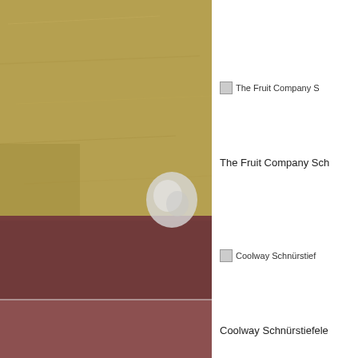[Figure (photo): Left side photo showing a textured golden/ochre wall surface (upper portion) and a reddish-brown ledge or baseboard (lower portion), with a wrapped spherical object visible at the junction.]
[Figure (other): Broken/missing image placeholder labeled 'The Fruit Company S']
The Fruit Company Sch
[Figure (other): Broken/missing image placeholder labeled 'Coolway Schnürstief']
Coolway Schnürstiefele